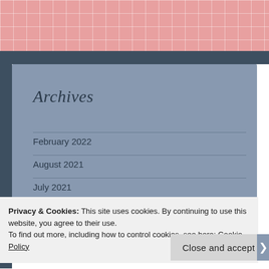[Figure (other): Pink grid background area at top of page]
Archives
February 2022
August 2021
July 2021
June 2021
Privacy & Cookies: This site uses cookies. By continuing to use this website, you agree to their use.
To find out more, including how to control cookies, see here: Cookie Policy
Close and accept